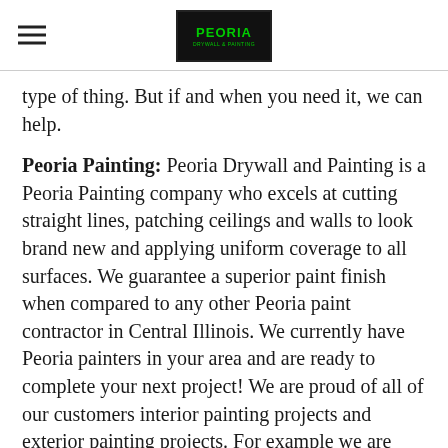Peoria Drywall & Painting logo with hamburger menu
type of thing. But if and when you need it, we can help.
Peoria Painting: Peoria Drywall and Painting is a Peoria Painting company who excels at cutting straight lines, patching ceilings and walls to look brand new and applying uniform coverage to all surfaces. We guarantee a superior paint finish when compared to any other Peoria paint contractor in Central Illinois. We currently have Peoria painters in your area and are ready to complete your next project! We are proud of all of our customers interior painting projects and exterior painting projects. For example we are happy to brag about how well the exterior looks (10 years later) on the Stucco paint job we did at 1301 Pioneer Park in Peoria. Or how vibrant the Exterior looks on the new Planet Fitness in Pekin and five years later at East